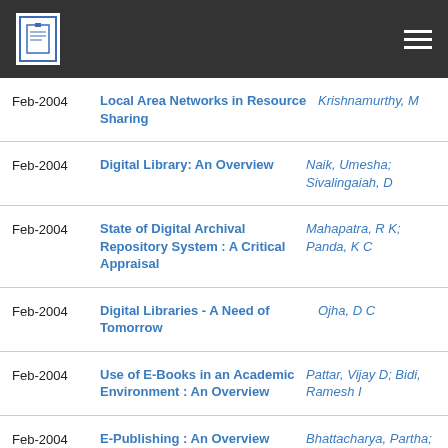Feb-2004 | Local Area Networks in Resource Sharing | Krishnamurthy, M
Feb-2004 | Digital Library: An Overview | Naik, Umesha; Sivalingaiah, D
Feb-2004 | State of Digital Archival Repository System : A Critical Appraisal | Mahapatra, R K; Panda, K C
Feb-2004 | Digital Libraries - A Need of Tomorrow | Ojha, D C
Feb-2004 | Use of E-Books in an Academic Environment : An Overview | Pattar, Vijay D; Bidi, Ramesh I
Feb-2004 | E-Publishing : An Overview | Bhattacharya, Partha; Siddiqui, A M